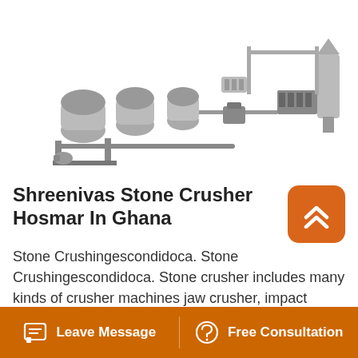[Figure (illustration): Industrial stone crushing machine / production line equipment shown in grayscale — includes cylindrical mills, conveyor, separators, silos, and connected piping/framing.]
Shreenivas Stone Crusher Hosmar In Ghana
Stone Crushingescondidoca. Stone Crushingescondidoca. Stone crusher includes many kinds of crusher machines jaw crusher, impact crusher, cone.Shreenivas stone crusher hosmar idago.Eu.Shreenivas stone crusher hosmar cakespot.Shreenivas stone crusher hosmar
Leave Message   Free Consultation